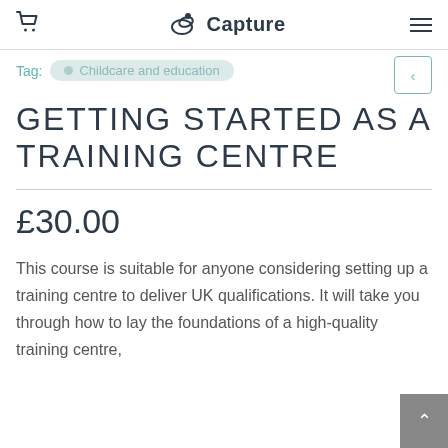Capture
Tag: Childcare and education
GETTING STARTED AS A TRAINING CENTRE
£30.00
This course is suitable for anyone considering setting up a training centre to deliver UK qualifications. It will take you through how to lay the foundations of a high-quality training centre,